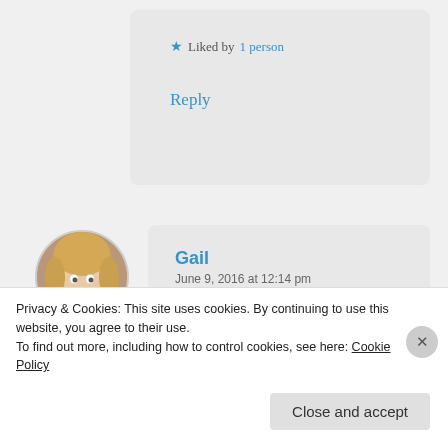★ Liked by 1 person
Reply
[Figure (photo): Circular avatar photo of a woman with blonde hair]
Gail
June 9, 2016 at 12:14 pm
LOL!! I knew what you actually meant, but I don't blame you for clarifying!
★ Like
Reply
Privacy & Cookies: This site uses cookies. By continuing to use this website, you agree to their use.
To find out more, including how to control cookies, see here: Cookie Policy
Close and accept